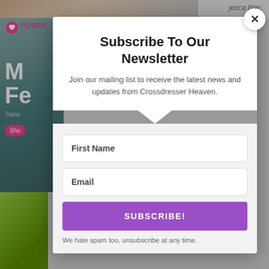[Figure (screenshot): Background website content showing a teal banner with partial text 'M Fe', a pink heart icon, 'POWER' text in pink, 'Trans' label, 'Shop' button, and a green block below. Top strip shows partial face image and text 'jecca blac'.]
Subscribe To Our Newsletter
Join our mailing list to receive the latest news and updates from Crossdresser Heaven.
First Name
Email
SUBSCRIBE!
We hate spam too, unsubscribe at any time.